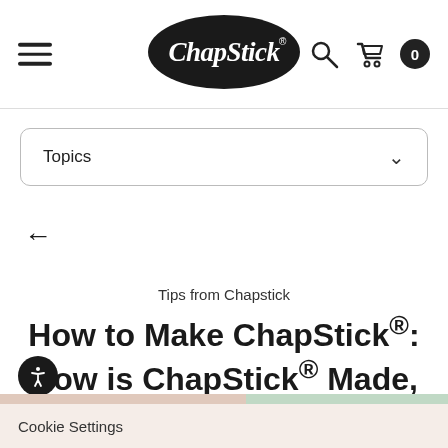[Figure (logo): ChapStick logo: white cursive text on black lip-shaped background]
Topics
←
Tips from Chapstick
How to Make ChapStick®: How is ChapStick® Made, Exactly?
Posted by ChapStick® on Jan 27th 2021
Cookie Settings